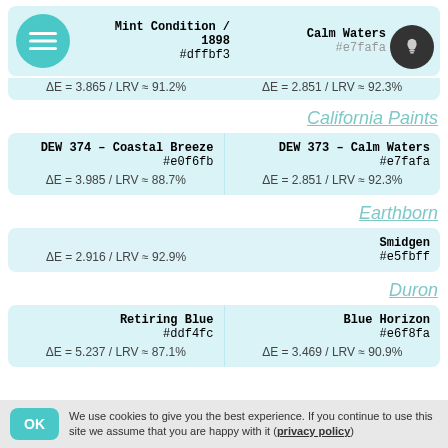[Figure (infographic): Top color card with hamburger menu icon, Mint Condition / 1898 #dffbf3 on left, Calm Waters with lightbulb icon and #e7fafa on right]
ΔE = 3.865 / LRV ≈ 91.2%   ΔE = 2.851 / LRV ≈ 92.3%
California Paints
| DEW 374 – Coastal Breeze
#e0f6fb
ΔE = 3.985 / LRV ≈ 88.7% | DEW 373 – Calm Waters
#e7fafa
ΔE = 2.851 / LRV ≈ 92.3% |
Earthborn
| ΔE = 2.916 / LRV ≈ 92.9% | Smidgen
#e5fbff |
Duron
| Retiring Blue
#ddf4fc
ΔE = 5.237 / LRV ≈ 87.1% | Blue Horizon
#e6f8fa
ΔE = 3.469 / LRV ≈ 90.9% |
We use cookies to give you the best experience. If you continue to use this site we assume that you are happy with it (privacy policy)